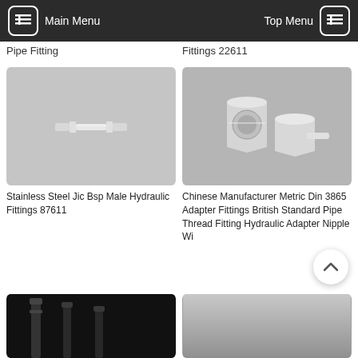Main Menu | Top Menu
Pipe Fitting
Fittings 22611
[Figure (photo): Stainless steel JIC BSP male hydraulic fitting, small cylindrical double-ended connector on gray background]
Stainless Steel Jic Bsp Male Hydraulic Fittings 87611
[Figure (photo): Two silver metric DIN 3865 adapter fittings, hexagonal body with threaded ends, on gray background]
Chinese Manufacturer Metric Din 3865 Adapter Fittings British Standard Pipe Thread Fitting Hydraulic Adapter Nipple Wi
[Figure (photo): Hydraulic fittings on dark/black background, partial view at bottom of page]
[Figure (photo): Gray background product image, partial view at bottom of page]